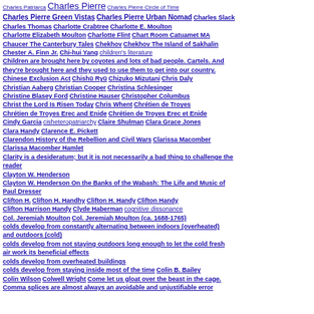Charles Patriarca  Charles Pierre  Charles Pierre Circle of Time  Charles Pierre Green Vistas  Charles Pierre Urban Nomad  Charles Slack  Charles Thomas  Charlotte Crabtree  Charlotte E. Moulton  Charlotte Elizabeth Moulton  Charlotte Flint  Chart Room Catuamet MA  Chaucer The Canterbury Tales  Chekhov  Chekhov The Island of Sakhalin  Chester A. Finn Jr.  Chi-hui Yang  children's literature  Children are brought here by coyotes and lots of bad people. Cartels. And they're brought here and they used to use them to get into our country.  Chinese Exclusion Act  Chishū Ryū  Chizuko Mizutani  Chris Daly  Christian Aaberg  Christian Cooper  Christina Schlesinger  Christine Blasey Ford  Christine Hauser  Christopher Columbus  Christ the Lord Is Risen Today  Chris Whent  Chrétien de Troyes  Chrétien de Troyes Erec and Enide  Chrétien de Troyes Erec et Enide  Cindy Garcia  cisheteropatriarchy  Claire Shulman  Clara Grace Jones  Clara Handy  Clarence E. Pickett  Clarendon History of the Rebellion and Civil Wars  Clarissa Macomber  Clarissa Macomber Hamlet  Clarity is a desideratum; but it is not necessarily a bad thing to challenge the reader  Clayton W. Henderson  Clayton W. Henderson On the Banks of the Wabash: The Life and Music of Paul Dresser  Clifton H.  Clifton H. Handhy  Clifton H. Handy  Clifton Handy  Clifton Harrison Handy  Clyde Haberman  cognitive dissonance  Col. Jeremiah Moulton  Col. Jeremiah Moulton (ca. 1688-1765)  colds develop from constantly alternating between indoors (overheated) and outdoors (cold)  colds develop from not staying outdoors long enough to let the cold fresh air work its beneficial effects  colds develop from overheated buildings  colds develop from staying inside most of the time  Colin B. Bailey  Colin Wilson  Colwell Wright  Come let us gloat over the beast in the cage.  Comma splices are almost always an avoidable and unjustifiable error